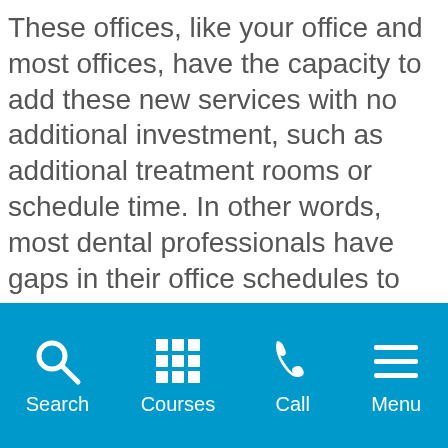These offices, like your office and most offices, have the capacity to add these new services with no additional investment, such as additional treatment rooms or schedule time. In other words, most dental professionals have gaps in their office schedules to perform more procedures that patients desire. The difference between the patient fee and profitability is the cost of the botulinum toxin and/ or dermal fillers.
HERE ARE SOME OF THE
Search | Courses | Call | Menu